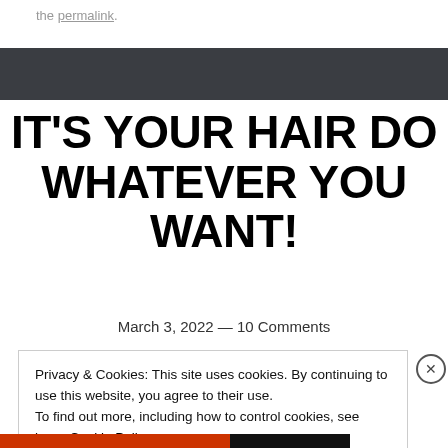the permalink.
[Figure (other): Dark gray banner/header bar]
IT'S YOUR HAIR DO WHATEVER YOU WANT!
March 3, 2022 — 10 Comments
Privacy & Cookies: This site uses cookies. By continuing to use this website, you agree to their use.
To find out more, including how to control cookies, see here: Cookie Policy
Close and accept